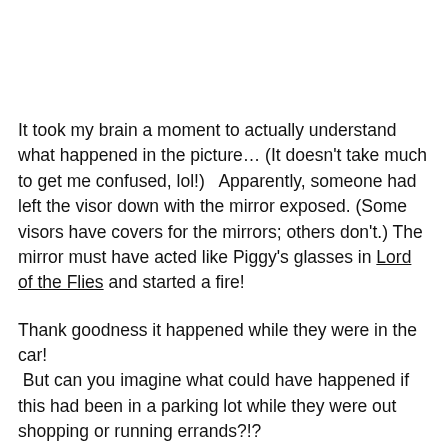It took my brain a moment to actually understand what happened in the picture… (It doesn't take much to get me confused, lol!)   Apparently, someone had left the visor down with the mirror exposed. (Some visors have covers for the mirrors; others don't.) The mirror must have acted like Piggy's glasses in Lord of the Flies and started a fire!
Thank goodness it happened while they were in the car!  But can you imagine what could have happened if this had been in a parking lot while they were out shopping or running errands?!?
I mean, who'd think something like this could happen?